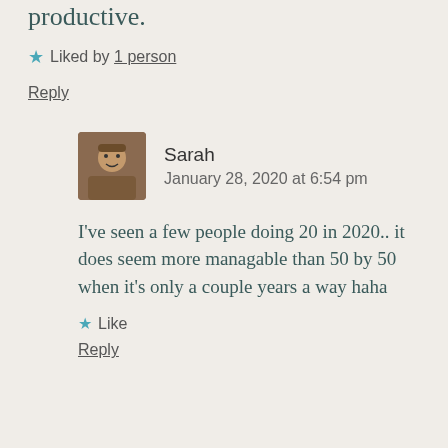…a 10 in 2020 to make my year fun and productive.
★ Liked by 1 person
Reply
Sarah
January 28, 2020 at 6:54 pm
I've seen a few people doing 20 in 2020.. it does seem more managable than 50 by 50 when it's only a couple years a way haha
★ Like
Reply